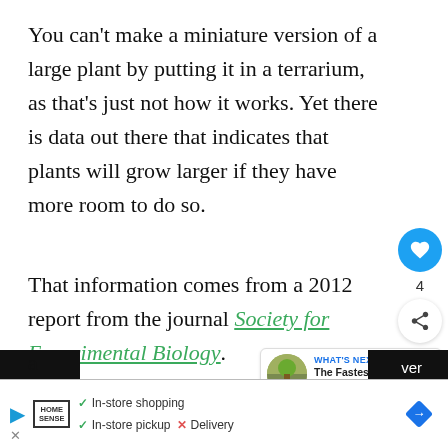You can't make a miniature version of a large plant by putting it in a terrarium, as that's just not how it works. Yet there is data out there that indicates that plants will grow larger if they have more room to do so.
That information comes from a 2012 report from the journal Society for Experimental Biology.
A group of plant scientists assessed the way
[Figure (screenshot): UI overlay elements: heart/like button (blue circle, count 4), share button, 'What's Next' widget showing 'The Fastest Growing...' with a plant thumbnail and arrow]
[Figure (screenshot): Bottom advertisement bar: Home Sense logo, checkmarks for In-store shopping and In-store pickup, X for Delivery, blue diamond navigation icon, play button, and X close button]